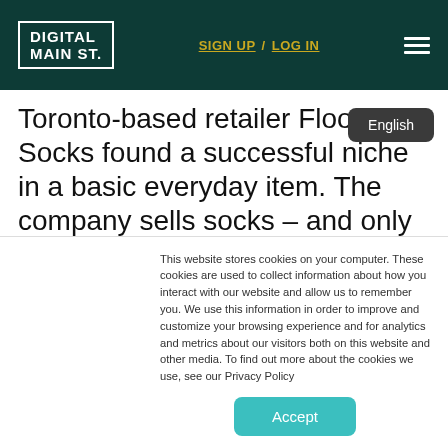DIGITAL MAIN ST. | SIGN UP / LOG IN
Toronto-based retailer FloorPlay Socks found a successful niche in a basic everyday item. The company sells socks – and only socks – and that narrow focus has helped FloorPlay stand out from its competitors and become an authority in the market.
This website stores cookies on your computer. These cookies are used to collect information about how you interact with our website and allow us to remember you. We use this information in order to improve and customize your browsing experience and for analytics and metrics about our visitors both on this website and other media. To find out more about the cookies we use, see our Privacy Policy
Accept